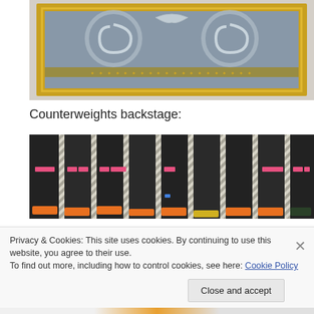[Figure (photo): Close-up photo of a decorative ornate picture frame with gold border and grey relief panel featuring spiral and wing motifs]
Counterweights backstage:
[Figure (photo): Photo of theatrical stage counterweights backstage — vertical black metal weights with white twisted ropes/cables and orange clips, with small pink/red labels]
Privacy & Cookies: This site uses cookies. By continuing to use this website, you agree to their use.
To find out more, including how to control cookies, see here: Cookie Policy
Close and accept